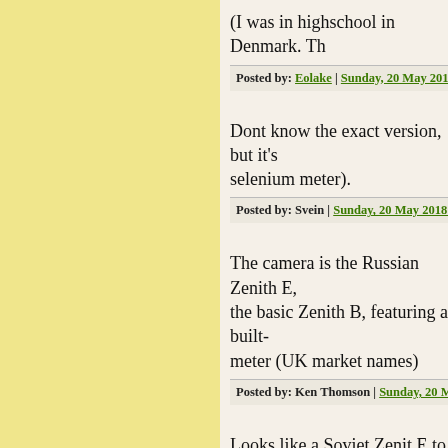(I was in highschool in Denmark. Th
Posted by: Eolake | Sunday, 20 May 2018 at 04:10 PM
Dont know the exact version, but it's selenium meter).
Posted by: Svein | Sunday, 20 May 2018 at 04:14 PM
The camera is the Russian Zenith E, the basic Zenith B, featuring a built- meter (UK market names)
Posted by: Ken Thomson | Sunday, 20 May 2018 at 04
Looks like a Soviet Zenit E to me.
https://en.wikipedia.org/wiki/Zenit_E and its successors
Posted by: robert e | Sunday, 20 May 2018 at 04:17 PM